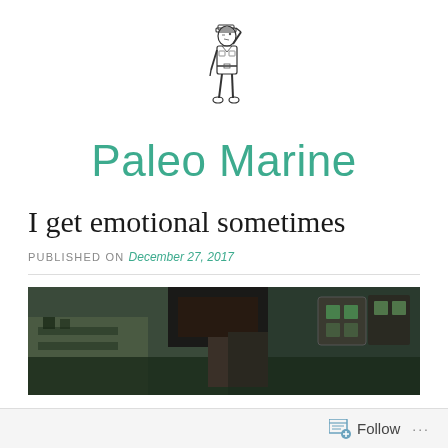[Figure (illustration): Line drawing of a military figure saluting, viewed from the side]
Paleo Marine
I get emotional sometimes
PUBLISHED ON December 27, 2017
[Figure (photo): Dark photograph of an interior scene, appears to show a room with dim lighting and some objects on shelves]
Follow ...